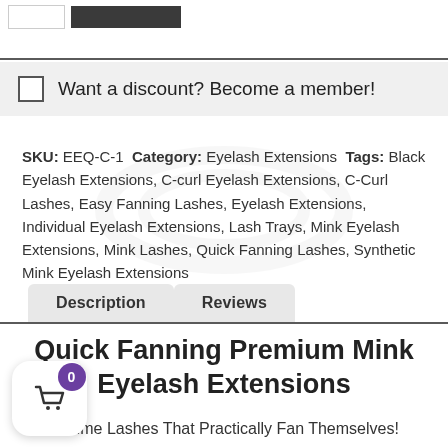[Figure (screenshot): Top portion showing two UI buttons: a white/outline button and a dark/filled button]
Want a discount? Become a member!
SKU: EEQ-C-1 Category: Eyelash Extensions Tags: Black Eyelash Extensions, C-curl Eyelash Extensions, C-Curl Lashes, Easy Fanning Lashes, Eyelash Extensions, Individual Eyelash Extensions, Lash Trays, Mink Eyelash Extensions, Mink Lashes, Quick Fanning Lashes, Synthetic Mink Eyelash Extensions
Description
Reviews
Quick Fanning Premium Mink Eyelash Extensions
Volume Lashes That Practically Fan Themselves!